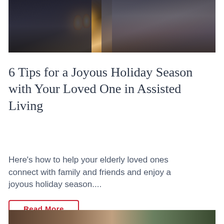[Figure (photo): An elderly person and a child looking at a candle flame in a dark setting]
6 Tips for a Joyous Holiday Season with Your Loved One in Assisted Living
Here's how to help your elderly loved ones connect with family and friends and enjoy a joyous holiday season....
Read More
[Figure (photo): Partial view of people, bottom of page]